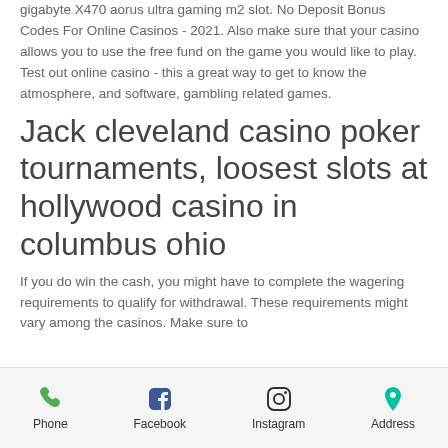gigabyte X470 aorus ultra gaming m2 slot. No Deposit Bonus Codes For Online Casinos - 2021. Also make sure that your casino allows you to use the free fund on the game you would like to play. Test out online casino - this a great way to get to know the atmosphere, and software, gambling related games.
Jack cleveland casino poker tournaments, loosest slots at hollywood casino in columbus ohio
If you do win the cash, you might have to complete the wagering requirements to qualify for withdrawal. These requirements might vary among the casinos. Make sure to
Phone | Facebook | Instagram | Address